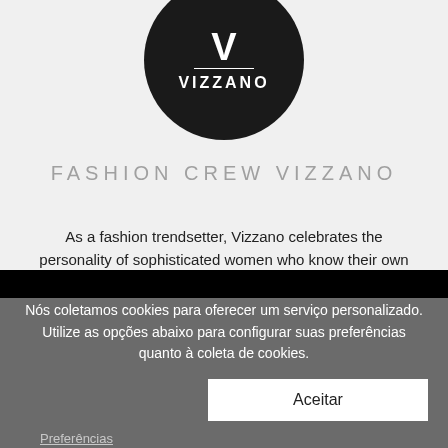[Figure (logo): Vizzano brand logo: white V letter above a white horizontal line above VIZZANO text, all inside a black circle, on a light gray background]
FASHION CREW VIZZANO
As a fashion trendsetter, Vizzano celebrates the personality of sophisticated women who know their own style very well.
Nós coletamos cookies para oferecer um serviço personalizado. Utilize as opções abaixo para configurar suas preferências quanto à coleta de cookies.
Aceitar
Preferências